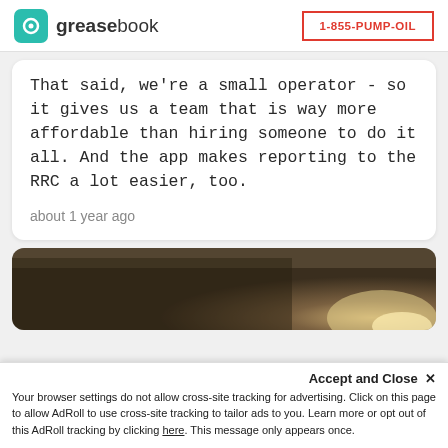greasebook | 1-855-PUMP-OIL
That said, we're a small operator - so it gives us a team that is way more affordable than hiring someone to do it all. And the app makes reporting to the RRC a lot easier, too.
about 1 year ago
[Figure (photo): A dark brownish photograph, possibly an outdoor or field scene with a bright light source in the lower right corner.]
Accept and Close ✕
Your browser settings do not allow cross-site tracking for advertising. Click on this page to allow AdRoll to use cross-site tracking to tailor ads to you. Learn more or opt out of this AdRoll tracking by clicking here. This message only appears once.